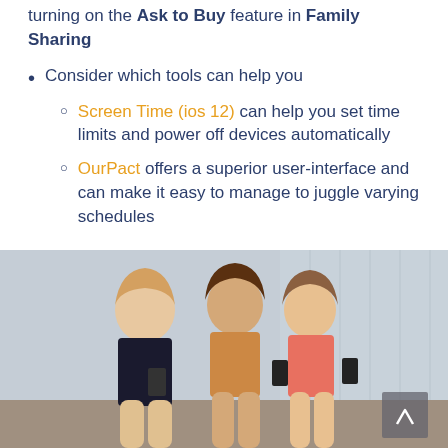turning on the Ask to Buy feature in Family Sharing
Consider which tools can help you
Screen Time (ios 12) can help you set time limits and power off devices automatically
OurPact offers a superior user-interface and can make it easy to manage to juggle varying schedules
[Figure (photo): Three teenage girls sitting side by side looking at their smartphones, with a glass building wall in the background]